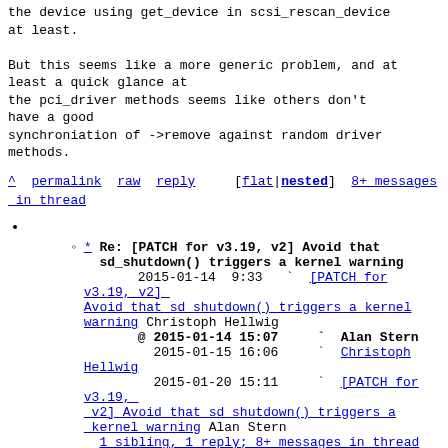the device using get_device in scsi_rescan_device at least.

But this seems like a more generic problem, and at least a quick glance at
the pci_driver methods seems like others don't have a good
synchroniation of ->remove against random driver methods.
^ permalink raw reply    [flat|nested] 8+ messages in thread
* Re: [PATCH for v3.19, v2] Avoid that sd_shutdown() triggers a kernel warning
2015-01-14  9:33    ` [PATCH for v3.19, v2] Avoid that sd shutdown() triggers a kernel warning Christoph Hellwig
@ 2015-01-14 15:07    ` Alan Stern
  2015-01-15 16:06    ` Christoph Hellwig
  2015-01-20 15:11    ` [PATCH for v3.19, v2] Avoid that sd shutdown() triggers a kernel warning Alan Stern
  1 sibling, 1 reply; 8+ messages in thread
From: Alan Stern @ 2015-01-14 15:07 UTC (permalink / raw)
To: Christoph Hellwig
Cc: Bart Van Assche, James Bottomley, Hannes Reinecke, linux-scsi